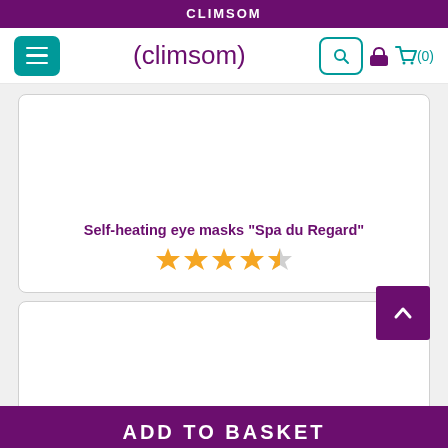CLIMSOM
[Figure (screenshot): Climsom website navigation bar with hamburger menu, Climsom logo, search button, user icon and cart (0)]
[Figure (screenshot): Product card for Self-heating eye masks Spa du Regard with 4.5 star rating]
Self-heating eye masks "Spa du Regard"
[Figure (other): 4.5 out of 5 star rating shown with orange stars]
[Figure (screenshot): Second product card (image area, partially visible)]
ADD TO BASKET